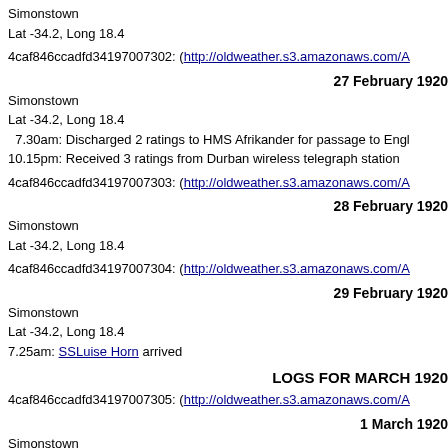Simonstown
Lat -34.2, Long 18.4
4caf846ccadfd34197007302: (http://oldweather.s3.amazonaws.com/A
27 February 1920
Simonstown
Lat -34.2, Long 18.4
  7.30am: Discharged 2 ratings to HMS Afrikander for passage to Engl
10.15pm: Received 3 ratings from Durban wireless telegraph station
4caf846ccadfd34197007303: (http://oldweather.s3.amazonaws.com/A
28 February 1920
Simonstown
Lat -34.2, Long 18.4
4caf846ccadfd34197007304: (http://oldweather.s3.amazonaws.com/A
29 February 1920
Simonstown
Lat -34.2, Long 18.4
7.25am: SSLuise Horn arrived
LOGS FOR MARCH 1920
4caf846ccadfd34197007305: (http://oldweather.s3.amazonaws.com/A
1 March 1920
Simonstown